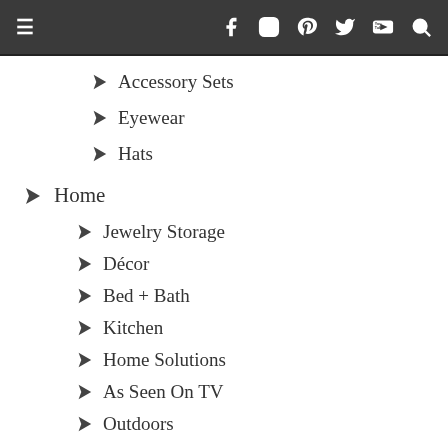Navigation bar with hamburger menu and social icons: Facebook, Instagram, Pinterest, Twitter, YouTube, Search
Accessory Sets
Eyewear
Hats
Home
Jewelry Storage
Décor
Bed + Bath
Kitchen
Home Solutions
As Seen On TV
Outdoors
Gadgets + Games
Pet Supplies
Automotive + Garage